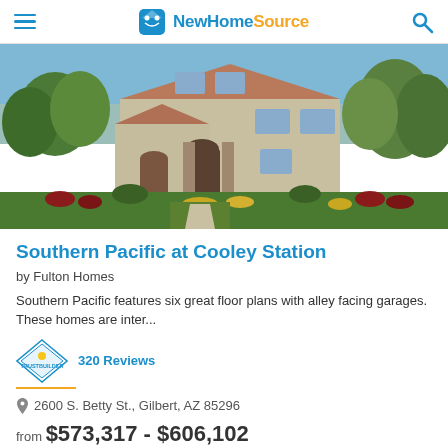NewHomeSource
[Figure (photo): Exterior photo of a two-story residential home with stucco siding, arched entryways, stone columns, and colorful landscaping including red and yellow flowers and green trees.]
Southern Pacific at Cooley Station
by Fulton Homes
Southern Pacific features six great floor plans with alley facing garages. These homes are inter...
320 Reviews
2600 S. Betty St., Gilbert, AZ 85296
from $573,317 - $606,102
3-4 Beds | 2 Baths | 6 Homes
Get Brochure